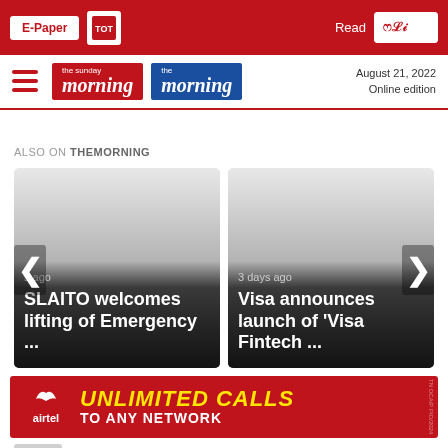E-Paper | The Morning | Read | August 21, 2022 Online edition
[Figure (logo): The Sunday Morning and The Morning newspaper logos with hamburger menu]
ALSO ON THEMORNING
[Figure (illustration): Card: [time] ago - SLAITO welcomes lifting of Emergency ...]
[Figure (illustration): Card: 3 days ago - Visa announces launch of 'Visa Fintech ...]
[Figure (illustration): Airtel advertisement: UNLIMITED CALLS TO ANY NETWORK]